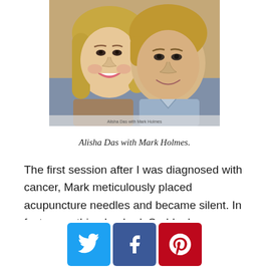[Figure (photo): Photo of two people smiling closely together — a woman with long blonde hair on the left and a man with medium blonde hair on the right, both casually dressed, with a light caption strip at the bottom of the image.]
Alisha Das with Mark Holmes.
The first session after I was diagnosed with cancer, Mark meticulously placed acupuncture needles and became silent. In fact, everything hushed. Suddenly
[Figure (infographic): Social sharing buttons: Twitter (blue), Facebook (dark blue), Pinterest (red)]